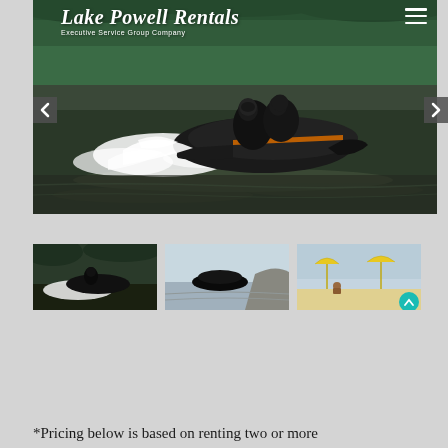[Figure (screenshot): Lake Powell Rentals website screenshot showing a jet ski rental company homepage with a hero image of people riding a black jet ski on water, navigation arrows, thumbnail images, and pricing text.]
*Pricing below is based on renting two or more